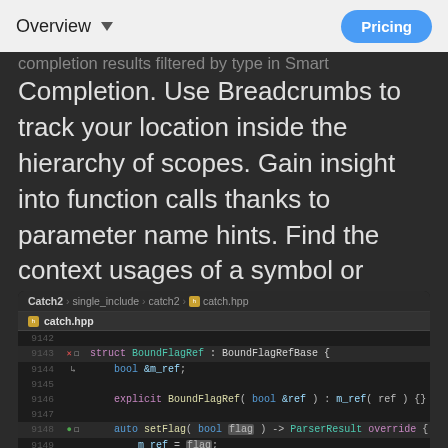Overview   Pricing
completion results filtered by type in Smart Completion. Use Breadcrumbs to track your location inside the hierarchy of scopes. Gain insight into function calls thanks to parameter name hints. Find the context usages of a symbol or simply jump to it by typing its name. CLion will even make sure your code conforms to coding guidelines, including formatting, naming, and more.
[Figure (screenshot): CLion IDE screenshot showing a C++ code editor with breadcrumb navigation (Catch2 > single_include > catch2 > catch.hpp), a tab for catch.hpp, and code lines 9142-9149 showing a struct BoundFlagRef definition with member bool &m_ref, explicit constructor, and auto setFlag method.]